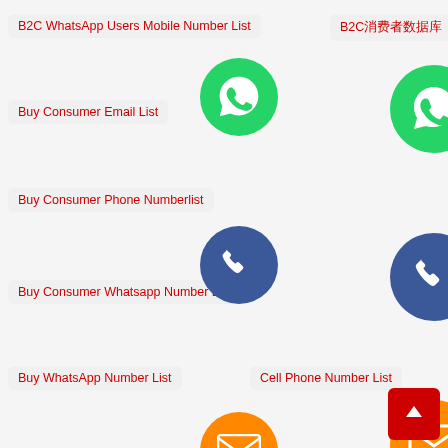B2C WhatsApp Users Mobile Number List
B2C消费者数据库
Buy Consumer Email List
Buy Consumer Phone Numberlist
Buy Consumer Whatsapp Number List
Buy WhatsApp Number List
Cell Phone Number List
Consumer Email Database
Consumer Phone List
Consumer Phone Number Database
Consumer Whatsapp List
Consumer Whatsapp Mobile Number Database
Contact WhatsApp Numbers
Country Phone List
Country Whatsapp Phone
Executive Email List
Executive Person Contact List